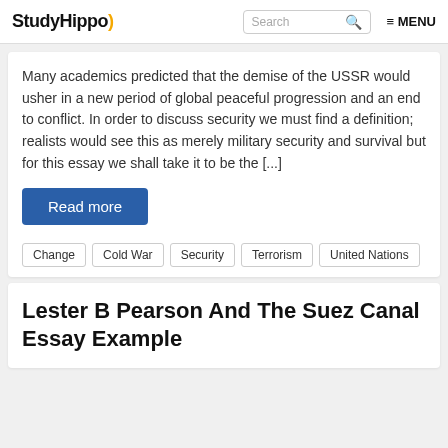StudyHippo) Search MENU
Many academics predicted that the demise of the USSR would usher in a new period of global peaceful progression and an end to conflict. In order to discuss security we must find a definition; realists would see this as merely military security and survival but for this essay we shall take it to be the [...]
Read more
Change
Cold War
Security
Terrorism
United Nations
Lester B Pearson And The Suez Canal Essay Example